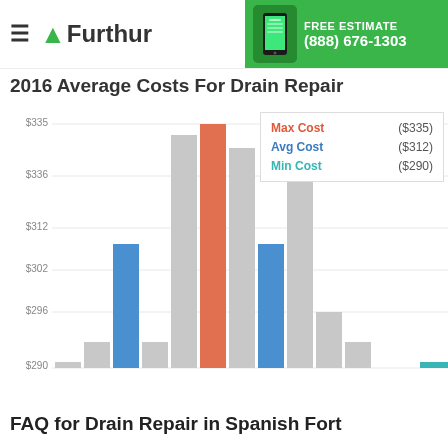Furthur — FREE ESTIMATE (888) 676-1303
2016 Average Costs For Drain Repair
[Figure (bar-chart): 2016 Average Costs For Drain Repair]
FAQ for Drain Repair in Spanish Fort
What are the common problems that a drain repair in Spanish Fort can fix?
A drain plays a very important role. While most drains are soundly constructed, there are situations wherein they will need repairs. Fortunately, a professional drain repair in Spanish Fort